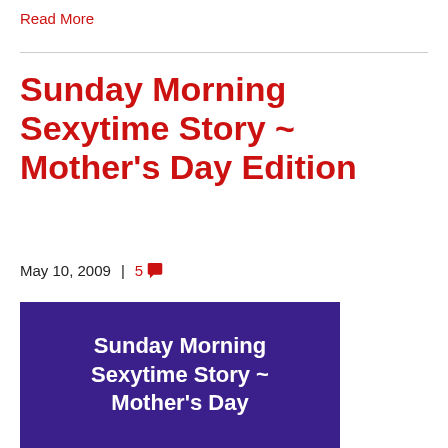Read More
Sunday Morning Sexytime Story ~ Mother's Day Edition
May 10, 2009  |  5 💬
[Figure (illustration): Purple/dark blue rectangle image with white bold text reading 'Sunday Morning Sexytime Story ~ Mother's Day']